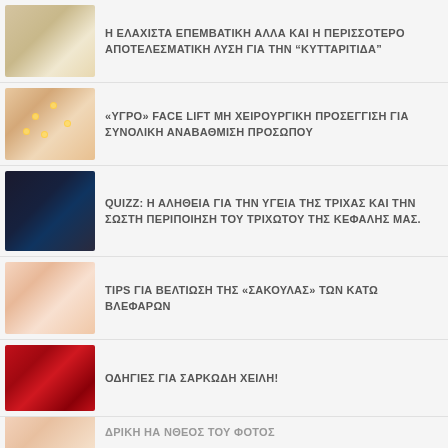Η ΕΛΑΧΙΣΤΑ ΕΠΕΜΒΑΤΙΚΗ ΑΛΛΑ ΚΑΙ Η ΠΕΡΙΣΣΟΤΕΡΟ ΑΠΟΤΕΛΕΣΜΑΤΙΚΗ ΛΥΣΗ ΓΙΑ ΤΗΝ "ΚΥΤΤΑΡΙΤΙΔΑ"
«ΥΓΡΟ» FACE LIFT ΜΗ ΧΕΙΡΟΥΡΓΙΚΗ ΠΡΟΣΕΓΓΙΣΗ ΓΙΑ ΣΥΝΟΛΙΚΗ ΑΝΑΒΑΘΜΙΣΗ ΠΡΟΣΩΠΟΥ
QUIZZ: Η ΑΛΗΘΕΙΑ ΓΙΑ ΤΗΝ ΥΓΕΙΑ ΤΗΣ ΤΡΙΧΑΣ ΚΑΙ ΤΗΝ ΣΩΣΤΗ ΠΕΡΙΠΟΙΗΣΗ ΤΟΥ ΤΡΙΧΩΤΟΥ ΤΗΣ ΚΕΦΑΛΗΣ ΜΑΣ.
TIPS ΓΙΑ ΒΕΛΤΙΩΣΗ ΤΗΣ «ΣΑΚΟΥΛΑΣ» ΤΩΝ ΚΑΤΩ ΒΛΕΦΑΡΩΝ
ΟΔΗΓΙΕΣ ΓΙΑ ΣΑΡΚΩΔΗ ΧΕΙΛΗ!
ΔΡΙΚΗ ΗΑ ΝΘΕΟΣ ΤΟΥ ΦΟΤΟΣ